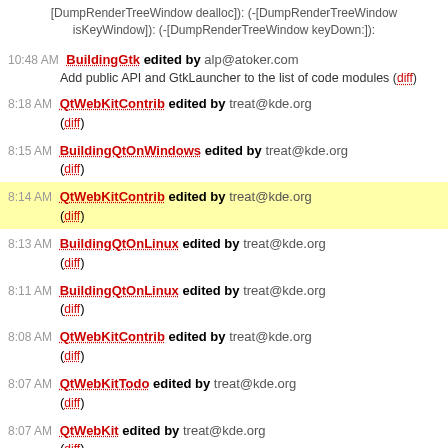[DumpRenderTreeWindow dealloc]): (-[DumpRenderTreeWindow isKeyWindow]): (-[DumpRenderTreeWindow keyDown:]):
10:48 AM BuildingGtk edited by alp@atoker.com
Add public API and GtkLauncher to the list of code modules (diff)
8:18 AM QtWebKitContrib edited by treat@kde.org
(diff)
8:15 AM BuildingQtOnWindows edited by treat@kde.org
(diff)
8:14 AM QtWebKitContrib edited by treat@kde.org
(diff)
8:13 AM BuildingQtOnLinux edited by treat@kde.org
(diff)
8:11 AM BuildingQtOnLinux edited by treat@kde.org
(diff)
8:08 AM QtWebKitContrib edited by treat@kde.org
(diff)
8:07 AM QtWebKitTodo edited by treat@kde.org
(diff)
8:07 AM QtWebKit edited by treat@kde.org
(diff)
8:06 AM QtWebKitContrib edited by treat@kde.org